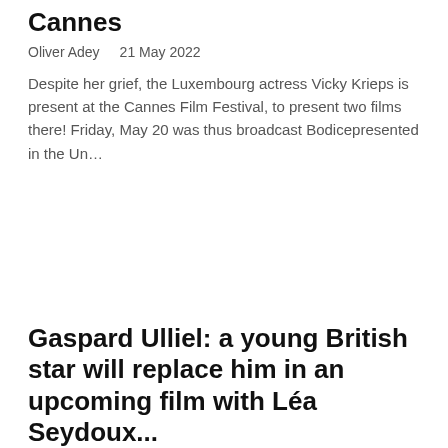Cannes
Oliver Adey   21 May 2022
Despite her grief, the Luxembourg actress Vicky Krieps is present at the Cannes Film Festival, to present two films there! Friday, May 20 was thus broadcast Bodicepresented in the Un…
Gaspard Ulliel: a young British star will replace him in an upcoming film with Léa Seydoux...